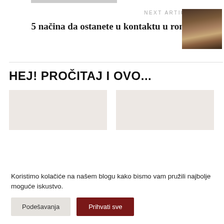NEXT ARTICLE →
5 načina da ostanete u kontaktu u romingu
[Figure (photo): Thumbnail image of a person holding a smartphone]
HEJ! PROČITAJ I OVO...
[Figure (photo): Article thumbnail card (left)]
[Figure (photo): Article thumbnail card (right)]
Koristimo kolačiće na našem blogu kako bismo vam pružili najbolje moguće iskustvo.
Podešavanja
Prihvati sve